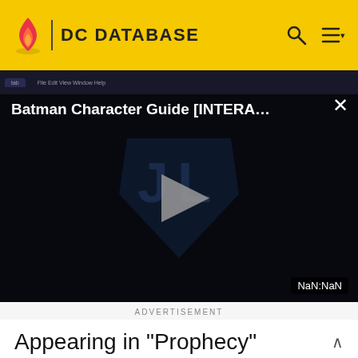DC DATABASE
[Figure (screenshot): Batman Character Guide [INTERA...] video player with play button and NaN:NaN timestamp displayed in dark theme]
ADVERTISEMENT
Appearing in "Prophecy"
Featured Characters:
The Blur (Clark Kent)